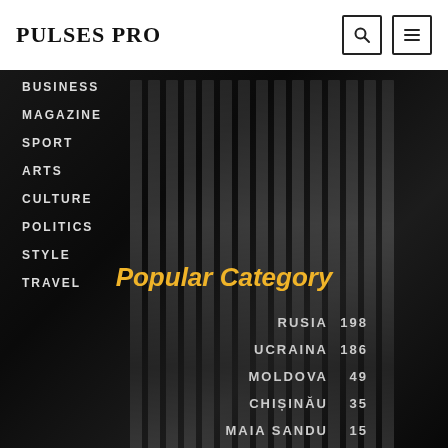PULSES PRO
BUSINESS
MAGAZINE
SPORT
ARTS
CULTURE
POLITICS
STYLE
TRAVEL
Popular Category
| Category | Count |
| --- | --- |
| RUSIA | 198 |
| UCRAINA | 186 |
| MOLDOVA | 49 |
| CHIȘINĂU | 35 |
| MAIA SANDU | 15 |
| JURNALISTI | 11 |